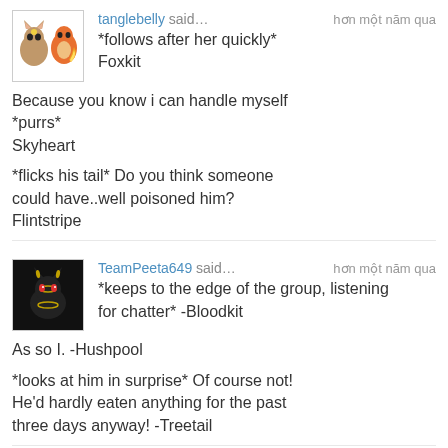tanglebelly said… hơn một năm qua
*follows after her quickly*
Foxkit

Because you know i can handle myself
*purrs*
Skyheart

*flicks his tail* Do you think someone could have..well poisoned him?
Flintstripe
TeamPeeta649 said… hơn một năm qua
*keeps to the edge of the group, listening for chatter* -Bloodkit

As so I. -Hushpool

*looks at him in surprise* Of course not! He'd hardly eaten anything for the past three days anyway! -Treetail
tanglebelly said… hơn một năm qua
True but im your mate so i have to protect